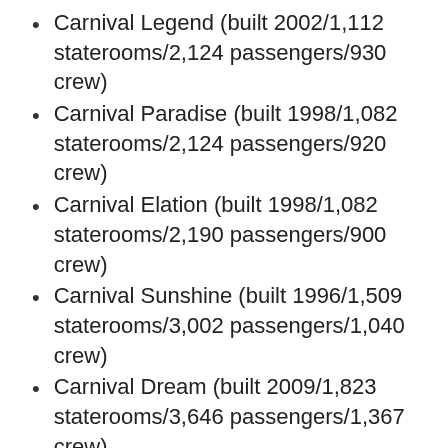Carnival Legend (built 2002/1,112 staterooms/2,124 passengers/930 crew)
Carnival Paradise (built 1998/1,082 staterooms/2,124 passengers/920 crew)
Carnival Elation (built 1998/1,082 staterooms/2,190 passengers/900 crew)
Carnival Sunshine (built 1996/1,509 staterooms/3,002 passengers/1,040 crew)
Carnival Dream (built 2009/1,823 staterooms/3,646 passengers/1,367 crew)
Carnival Glory (built 2003/1,541 staterooms/2,980 passengers/1,150 crew)
Carnival Valor (built 2004/1,539 staterooms/2,980 passengers/1,180 crew)